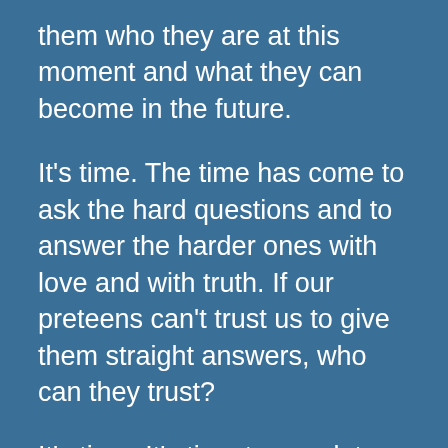them who they are at this moment and what they can become in the future.
It's time. The time has come to ask the hard questions and to answer the harder ones with love and with truth. If our preteens can't trust us to give them straight answers, who can they trust?
It's time. It's time to speak to our 6th graders, but mostly it's time to listen. Ecclesiastes 3:1-8 tells us that there is a time for everything